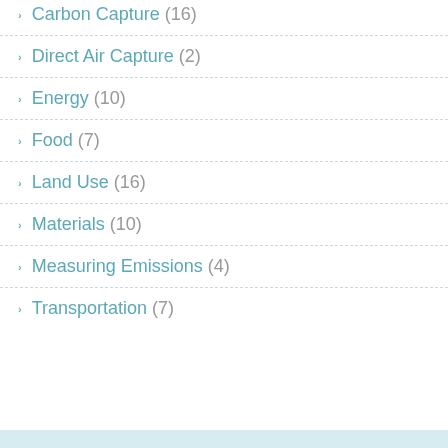Carbon Capture (16)
Direct Air Capture (2)
Energy (10)
Food (7)
Land Use (16)
Materials (10)
Measuring Emissions (4)
Transportation (7)